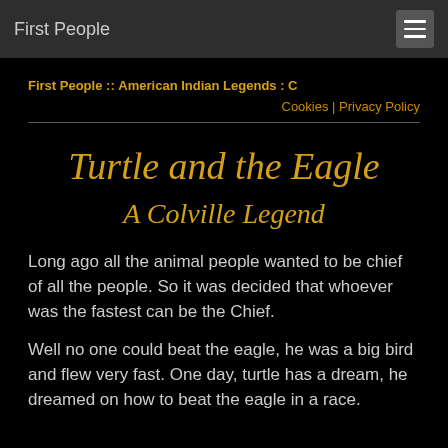First People
First People :: American Indian Legends : C
Cookies | Privacy Policy
Turtle and the Eagle
A Colville Legend
Long ago all the animal people wanted to be chief of all the people. So it was decided that whoever was the fastest can be the Chief.
Well no one could beat the eagle, he was a big bird and flew very fast. One day, turtle has a dream, he dreamed on how to beat the eagle in a race.